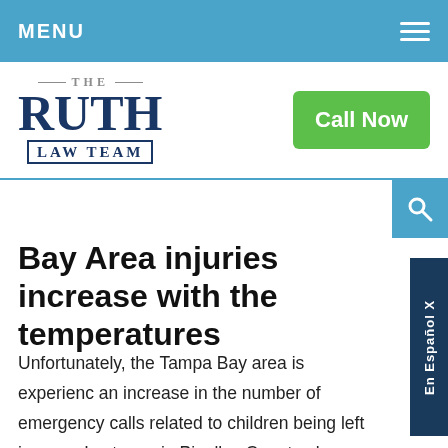MENU
[Figure (logo): The Ruth Law Team logo with blue text and green Call Now button]
Bay Area injuries increase with the temperatures
Unfortunately, the Tampa Bay area is experiencing an increase in the number of emergency calls related to children being left in cars. Last year in Pinellas County alone, 183 emergency responses were noted, and St. Petersburg was responsible for 32 percent of them.